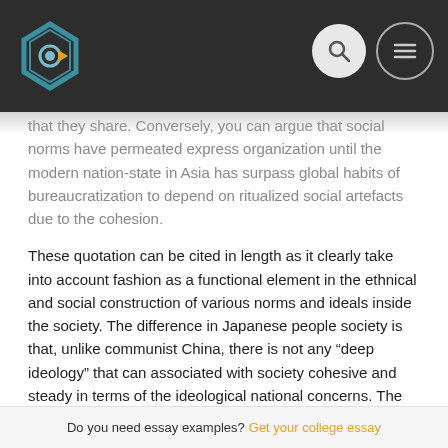[Website header with logo and navigation icons]
that they share. Conversely, you can argue that social norms have permeated express organization until the modern nation-state in Asia has surpass global habits of bureaucratization to depend on ritualized social artefacts due to the cohesion.
These quotation can be cited in length as it clearly take into account fashion as a functional element in the ethnical and social construction of various norms and ideals inside the society. The difference in Japanese people society is that, unlike communist China, there is not any “deep ideology” that can associated with society cohesive and steady in terms of the ideological national concerns. The above quotation shows that this normative control is usually achieved and relies rather on “… ritualized social artefacts for its cohesion, inch such as fashion and dress
This feature also relates to China when it comes to to the ethnic fashion of uniforms. The appearance and function from the uniform
Do you need essay examples? Get your college essay